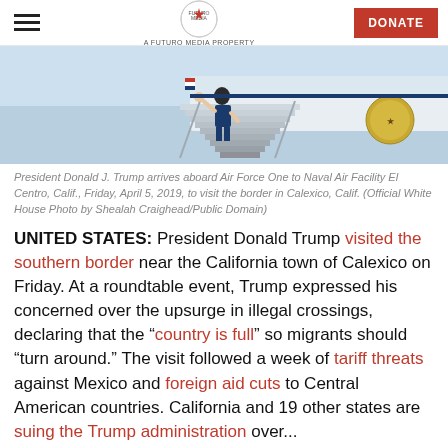A FUTURO MEDIA PROPERTY | DONATE
[Figure (photo): President Donald J. Trump waves while descending the stairs of Air Force One, with the presidential seal visible on the aircraft.]
President Donald J. Trump arrives aboard Air Force One to Naval Air Facility El Centro, Calif., Friday, April 5, 2019, to visit the border in Calexico, Calif. (Official White House Photo by Shealah Craighead/Public Domain)
UNITED STATES: President Donald Trump visited the southern border near the California town of Calexico on Friday. At a roundtable event, Trump expressed his concerned over the upsurge in illegal crossings, declaring that the “country is full” so migrants should “turn around.” The visit followed a week of tariff threats against Mexico and foreign aid cuts to Central American countries. California and 19 other states are suing the Trump administration over...